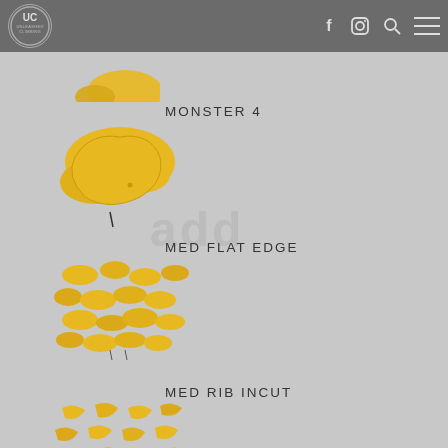Unleashed Climbing - website header with logo, Facebook, Instagram, search, and menu icons
[Figure (photo): Partially visible yellow climbing hold at top of page]
MONSTER 4
[Figure (photo): Yellow Monster 4 climbing hold - large single ergonomic hold]
MED FLAT EDGE
[Figure (photo): Yellow Med Flat Edge climbing holds - set of multiple small flat edge holds]
MED RIB INCUT
[Figure (photo): Yellow Med Rib Incut climbing holds - set of multiple rib incut holds]